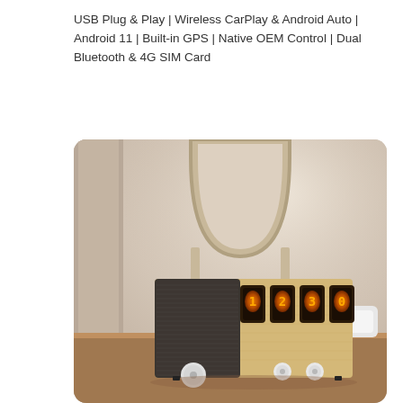USB Plug & Play | Wireless CarPlay & Android Auto | Android 11 | Built-in GPS | Native OEM Control | Dual Bluetooth & 4G SIM Card
[Figure (photo): A close-up photo of a wooden retro-style nixie tube clock/audio device on a desk, with a fabric-covered speaker on the left, four glowing nixie tubes in the center, and two white knobs at the bottom. In the background is a beige arched mirror and soft-focus room decor.]